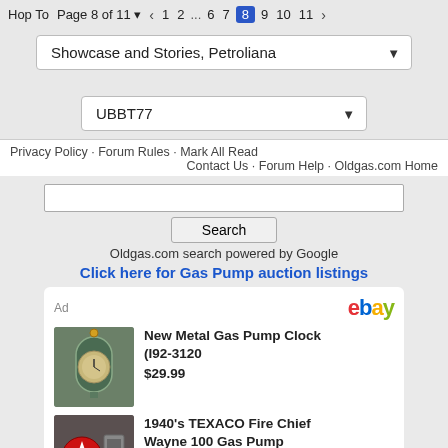Hop to | Page 8 of 11 | 1 2 ... 6 7 8 9 10 11
Showcase and Stories, Petroliana
UBBT77
Privacy Policy · Forum Rules · Mark All Read | Contact Us · Forum Help · Oldgas.com Home
Search
Oldgas.com search powered by Google
Click here for Gas Pump auction listings
[Figure (screenshot): eBay advertisement showing two items: 1) New Metal Gas Pump Clock (I92-3120) priced at $29.99 with image of clock, 2) 1940's TEXACO Fire Chief Wayne 100 Gas Pump with Texaco logo image]
New Metal Gas Pump Clock (I92-3120) $29.99
1940's TEXACO Fire Chief Wayne 100 Gas Pump